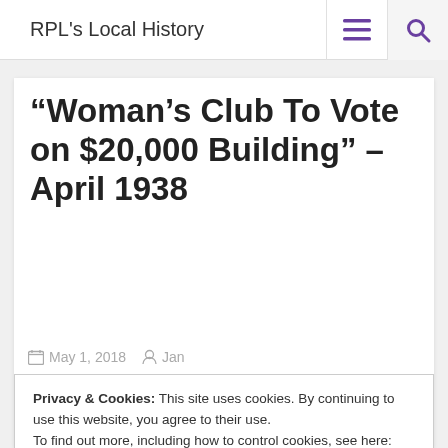RPL's Local History
“Woman’s Club To Vote on $20,000 Building” – April 1938
May 1, 2018   Jan
Privacy & Cookies: This site uses cookies. By continuing to use this website, you agree to their use.
To find out more, including how to control cookies, see here:
Cookie Policy
Close and accept
[Figure (photo): Partial newspaper headline reading 'Call For New North Church Street']